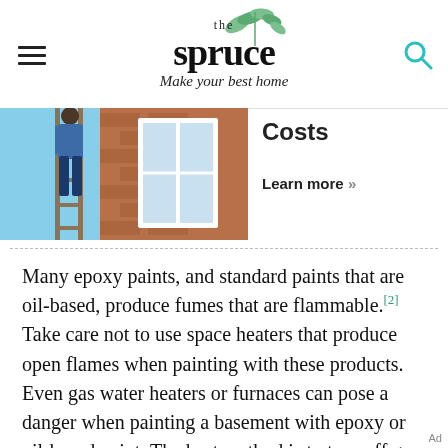the spruce — Make your best home
[Figure (photo): Person on ladder painting exterior of brick building with white window trim, partial view]
Costs
Learn more »
Many epoxy paints, and standard paints that are oil-based, produce fumes that are flammable.[2] Take care not to use space heaters that produce open flames when painting with these products. Even gas water heaters or furnaces can pose a danger when painting a basement with epoxy or oil-based paint. The best method is to turn off gas
Ad